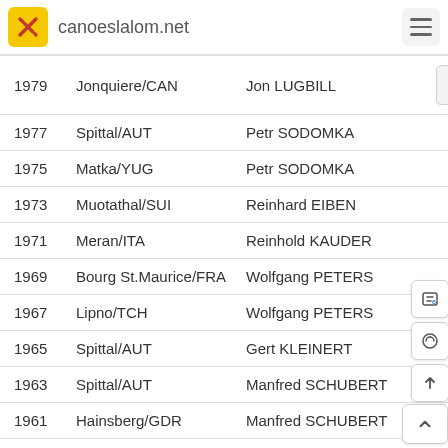canoeslalom.net
| Year | Location | Winner |  |
| --- | --- | --- | --- |
| 1979 | Jonquiere/CAN | Jon LUGBILL |  |
| 1977 | Spittal/AUT | Petr SODOMKA |  |
| 1975 | Matka/YUG | Petr SODOMKA |  |
| 1973 | Muotathal/SUI | Reinhard EIBEN |  |
| 1971 | Meran/ITA | Reinhold KAUDER |  |
| 1969 | Bourg St.Maurice/FRA | Wolfgang PETERS |  |
| 1967 | Lipno/TCH | Wolfgang PETERS |  |
| 1965 | Spittal/AUT | Gert KLEINERT |  |
| 1963 | Spittal/AUT | Manfred SCHUBERT |  |
| 1961 | Hainsberg/GDR | Manfred SCHUBERT |  |
| 1959 | Genf/SUI | Vladimir JIRASEK |  |
| 1957 | Augsburg/FRG | Manfred SCHUBERT |  |
| 1955 | Tacen/YUG | Vladimir JIRASEK |  |